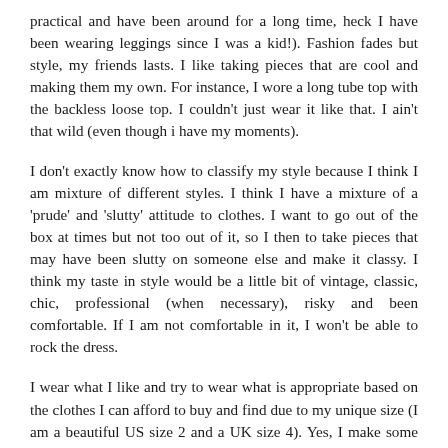practical and have been around for a long time, heck I have been wearing leggings since I was a kid!). Fashion fades but style, my friends lasts. I like taking pieces that are cool and making them my own. For instance, I wore a long tube top with the backless loose top. I couldn't just wear it like that. I ain't that wild (even though i have my moments).
I don't exactly know how to classify my style because I think I am mixture of different styles. I think I have a mixture of a 'prude' and 'slutty' attitude to clothes. I want to go out of the box at times but not too out of it, so I then to take pieces that may have been slutty on someone else and make it classy. I think my taste in style would be a little bit of vintage, classic, chic, professional (when necessary), risky and been comfortable. If I am not comfortable in it, I won't be able to rock the dress.
I wear what I like and try to wear what is appropriate based on the clothes I can afford to buy and find due to my unique size (I am a beautiful US size 2 and a UK size 4). Yes, I make some fashion blunders/mistakes but I am human and still trying to find pieces that fit me. I would love to learn how to sew, I might not sew my clothes but at least I would be able to adjust my ready-made or